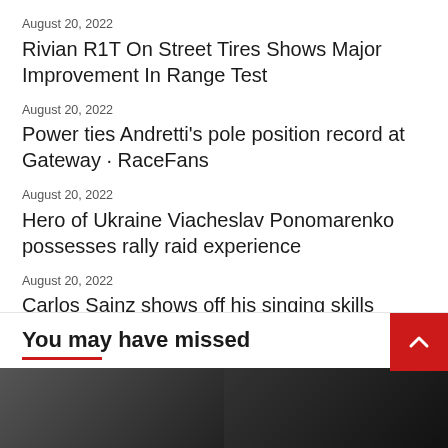August 20, 2022
Rivian R1T On Street Tires Shows Major Improvement In Range Test
August 20, 2022
Power ties Andretti's pole position record at Gateway · RaceFans
August 20, 2022
Hero of Ukraine Viacheslav Ponomarenko possesses rally raid experience
August 20, 2022
Carlos Sainz shows off his singing skills
August 20, 2022
You may have missed
[Figure (photo): Two thumbnail images at the bottom of the page, partially visible]
[Figure (photo): Second thumbnail image partially visible on the right side]